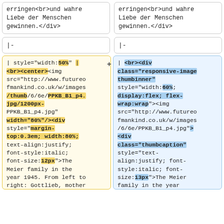erringen<br>und wahre Liebe der Menschen gewinnen.</div>
erringen<br>und wahre Liebe der Menschen gewinnen.</div>
|-
|-
[Figure (screenshot): Diff view left (removed): | style="width:50%" | <br><center><img src="http://www.futureofmankind.co.uk/w/images/thumb/6/6e/PPKB_B1_p4.jpg/1200px-PPKB_B1_p4.jpg" width="80%"/><div style="margin-top:0.3em; width:80%; text-align:justify; font-style:italic; font-size:12px">The Meier family in the year 1945. From left to right: Gottlieb, mother Bertha, Verena, Bertha, Karl, father Julius, and Eduard ("Billy").]
[Figure (screenshot): Diff view right (added): | <br><div class="responsive-image thumbinner" style="width:60%; display:flex; flex-wrap:wrap"><img src="http://www.futureofmankind.co.uk/w/images/6/6e/PPKB_B1_p4.jpg"><div class="thumbcaption" style="text-align:justify; font-style:italic; font-size:13px">The Meier family in the year 1945. From left to right: Gottlieb, mother Bertha, Verena, Bertha,]